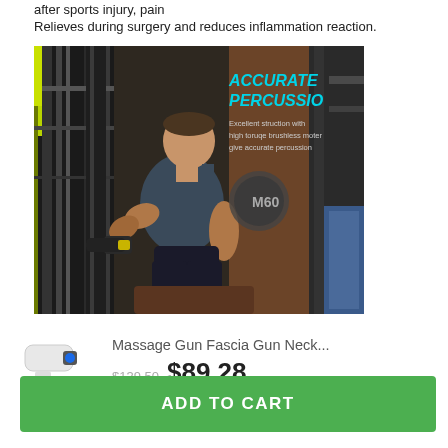after sports injury, pain
Relieves during surgery and reduces inflammation reaction.
[Figure (photo): Man in a gym using a massage gun, with overlay text 'ACCURATE PERCUSSION - Excellent struction with high torque brushless motor give accurate percussion']
Massage Gun Fascia Gun Neck...
$139.50  $89.28
ADD TO CART